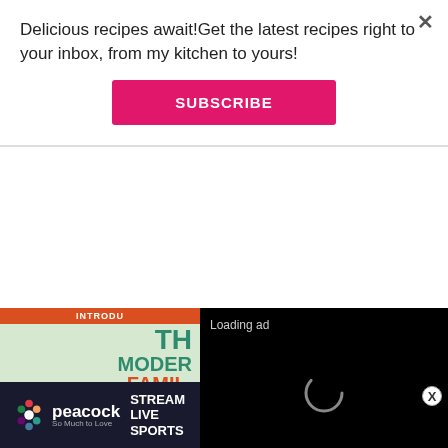Delicious recipes await!Get the latest recipes right to your inbox, from my kitchen to yours!
SUBSCRIBE
Now it's your turn - What do you miss most about your Mom's cooking?
[Figure (screenshot): Video player overlay showing 'Loading ad' text with spinning loader and playback controls (pause, fullscreen, mute) on black background]
[Figure (photo): Partial book advertisement for 'The Modern Family Plan' with green background, orange bar reading 'INTRODU', teal and orange typography]
[Figure (advertisement): Peacock streaming service banner ad: 'STREAM LIVE SPORTS So Much to Love' with SIGN UP NOW button]